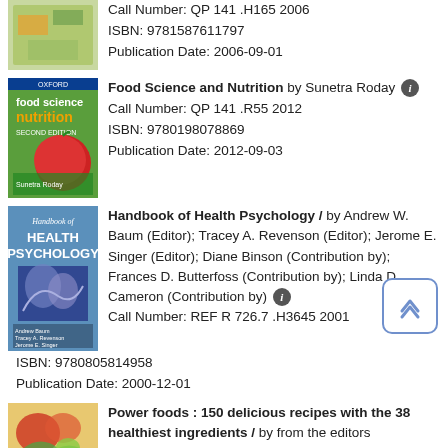[Figure (illustration): Book cover for Food Science and Nutrition (top, partially cut off)]
Call Number: QP 141 .H165 2006
ISBN: 9781587611797
Publication Date: 2006-09-01
[Figure (illustration): Book cover for Food Science and Nutrition by Sunetra Roday, showing a red apple]
Food Science and Nutrition by Sunetra Roday
Call Number: QP 141 .R55 2012
ISBN: 9780198078869
Publication Date: 2012-09-03
[Figure (illustration): Book cover for Handbook of Health Psychology, blue cover]
Handbook of Health Psychology / by Andrew W. Baum (Editor); Tracey A. Revenson (Editor); Jerome E. Singer (Editor); Diane Binson (Contribution by); Frances D. Butterfoss (Contribution by); Linda D. Cameron (Contribution by)
Call Number: REF R 726.7 .H3645 2001
ISBN: 9780805814958
Publication Date: 2000-12-01
[Figure (photo): Book cover for Power foods showing colorful salad/vegetables]
Power foods : 150 delicious recipes with the 38 healthiest ingredients / by from the editors